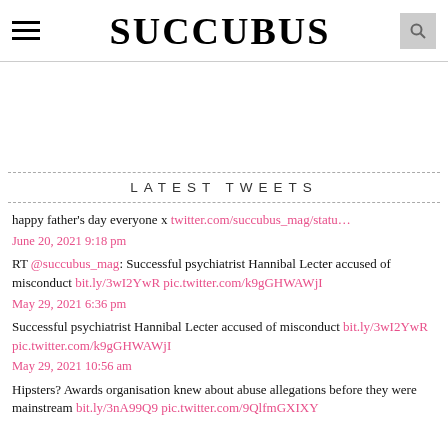SUCCUBUS
LATEST TWEETS
happy father's day everyone x twitter.com/succubus_mag/statu…
June 20, 2021 9:18 pm
RT @succubus_mag: Successful psychiatrist Hannibal Lecter accused of misconduct bit.ly/3wI2YwR pic.twitter.com/k9gGHWAWjI
May 29, 2021 6:36 pm
Successful psychiatrist Hannibal Lecter accused of misconduct bit.ly/3wI2YwR pic.twitter.com/k9gGHWAWjI
May 29, 2021 10:56 am
Hipsters? Awards organisation knew about abuse allegations before they were mainstream bit.ly/3nA99Q9 pic.twitter.com/9QlfmGXIXY